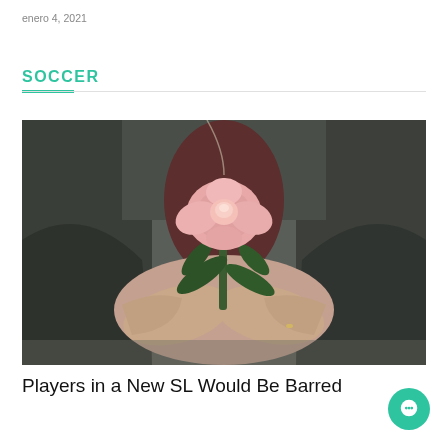enero 4, 2021
SOCCER
[Figure (photo): Person in a dark jacket holding a pink rose/flower with green leaves with both hands, close-up shot]
Players in a New SL Would Be Barred